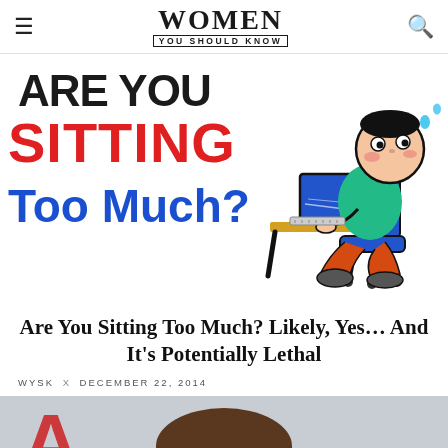WOMEN YOU SHOULD KNOW
[Figure (illustration): Cartoon illustration of a person slumped over a desk typing at a computer. Text on left reads 'Are You SITTING Too Much?' in red and blue marker-style lettering on white background.]
Are You Sitting Too Much? Likely, Yes... And It's Potentially Lethal
WYSK x DECEMBER 22, 2014
[Figure (photo): Partial photo showing the top of a person's head with brown hair, cropped at the bottom of the page. A partial red letter 'A' visible on left side background.]